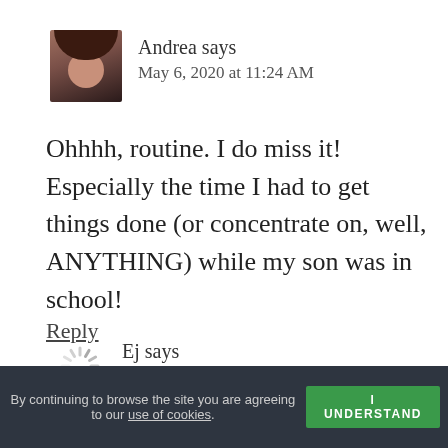[Figure (photo): Profile photo of Andrea, a woman with long brown/dark hair]
Andrea says
May 6, 2020 at 11:24 AM
Ohhhh, routine. I do miss it! Especially the time I had to get things done (or concentrate on, well, ANYTHING) while my son was in school!
Reply
[Figure (other): Loading spinner icon placeholder for Ej's avatar]
Ej says
May 5, 2020 at 10:24 AM
By continuing to browse the site you are agreeing to our use of cookies.
I UNDERSTAND